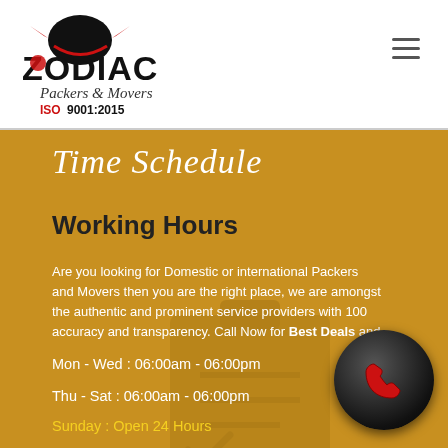[Figure (logo): Zodiac Packers & Movers logo with scooter/delivery helmet graphic, text 'Zodiac Packers & Movers ISO 9001:2015']
Time Schedule
Working Hours
Are you looking for Domestic or international Packers and Movers then you are the right place, we are amongst the authentic and prominent service providers with 100 accuracy and transparency. Call Now for Best Deals and
Mon - Wed : 06:00am - 06:00pm
Thu - Sat : 06:00am - 06:00pm
Sunday : Open 24 Hours